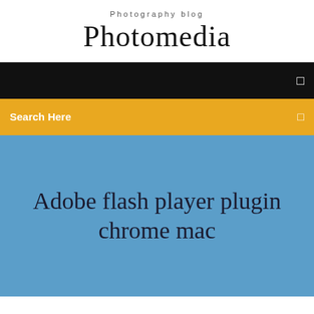Photography blog
Photomedia
[Figure (screenshot): Black navigation bar with a small square icon on the right side]
Search Here
Adobe flash player plugin chrome mac